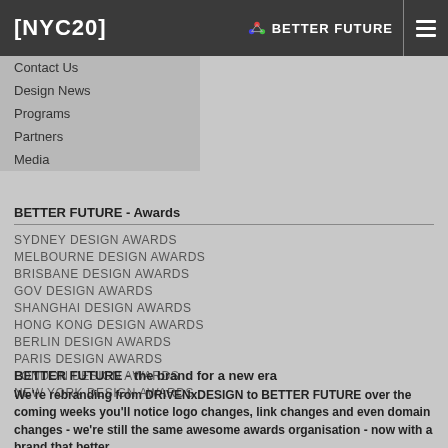[NYC20]   BETTER FUTURE
Contact Us
Design News
Programs
Partners
Media
BETTER FUTURE - Awards
SYDNEY DESIGN AWARDS
MELBOURNE DESIGN AWARDS
BRISBANE DESIGN AWARDS
GOV DESIGN AWARDS
SHANGHAI DESIGN AWARDS
HONG KONG DESIGN AWARDS
BERLIN DESIGN AWARDS
PARIS DESIGN AWARDS
LONDON DESIGN AWARDS
NEW YORK DESIGN AWARDS
BETTER FUTURE - the brand for a new era
We're rebranding from DRIVENxDESIGN to BETTER FUTURE over the coming weeks you'll notice logo changes, link changes and even domain changes - we're still the same awesome awards organisation - now with a brand that better